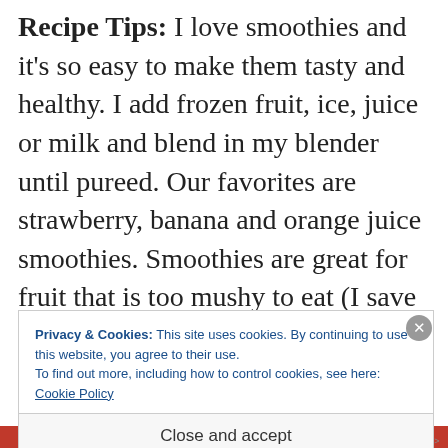Recipe Tips: I love smoothies and it's so easy to make them tasty and healthy. I add frozen fruit, ice, juice or milk and blend in my blender until pureed. Our favorites are strawberry, banana and orange juice smoothies. Smoothies are great for fruit that is too mushy to eat (I save it in a ziploc bag in the freezer until the next time we're making smoothies, then it counts as your ice too!). You can also add yogurt to the
Privacy & Cookies: This site uses cookies. By continuing to use this website, you agree to their use.
To find out more, including how to control cookies, see here: Cookie Policy
Close and accept